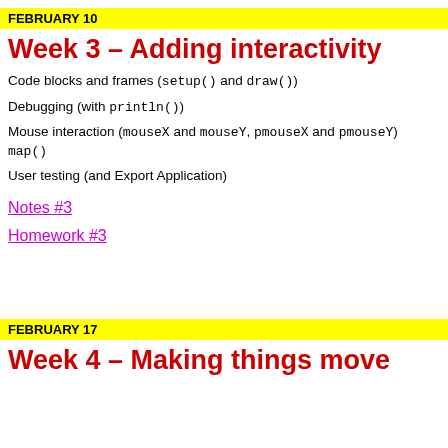FEBRUARY 10
Week 3 – Adding interactivity
Code blocks and frames (setup() and draw())
Debugging (with println())
Mouse interaction (mouseX and mouseY, pmouseX and pmouseY)
map()
User testing (and Export Application)
Notes #3
Homework #3
FEBRUARY 17
Week 4 – Making things move